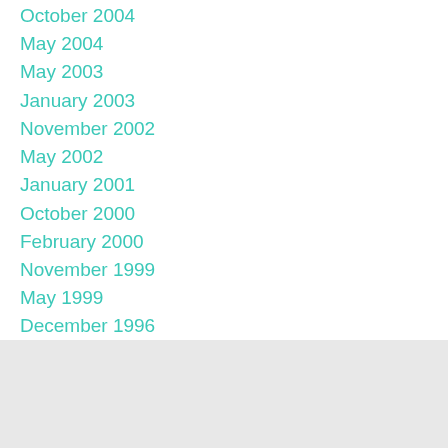October 2004
May 2004
May 2003
January 2003
November 2002
May 2002
January 2001
October 2000
February 2000
November 1999
May 1999
December 1996
June 1996
December 1995